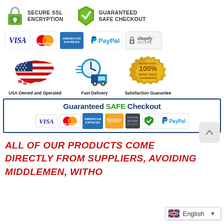[Figure (infographic): Two trust badges: 'Secure SSL Encryption' with padlock icon and 'Guaranteed Safe Checkout' with green shield/checkmark icon]
[Figure (infographic): Payment method logos: VISA, MasterCard, American Express, PayPal, Shopify Secure]
[Figure (infographic): Three trust icons: USA Owned and Operated (American flag map), Fast Delivery (truck with clock), Satisfaction Guarantee (100% money back seal)]
[Figure (infographic): Guaranteed SAFE Checkout banner with payment logos: VISA, MasterCard, American Express, Discover Network, Stripe, security checkmark, PayPal]
ALL OF OUR PRODUCTS COME DIRECTLY FROM SUPPLIERS, AVOIDING MIDDLEMEN, WITHO...
[Figure (infographic): Language selector showing English with UK flag and dropdown arrow]